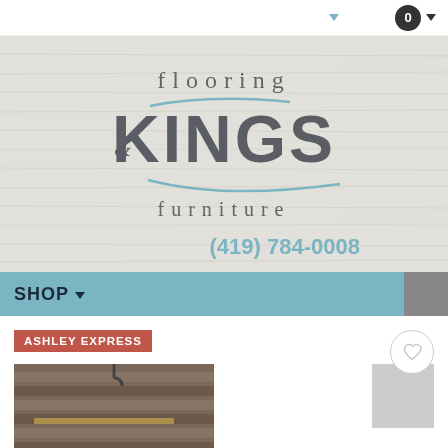0
[Figure (logo): Flooring Kings & Furniture logo on wood-texture background with phone number (419) 784-0008]
SHOP
ASHLEY EXPRESS
[Figure (photo): Wood furniture item with lamp hook, slatted wooden panel design]